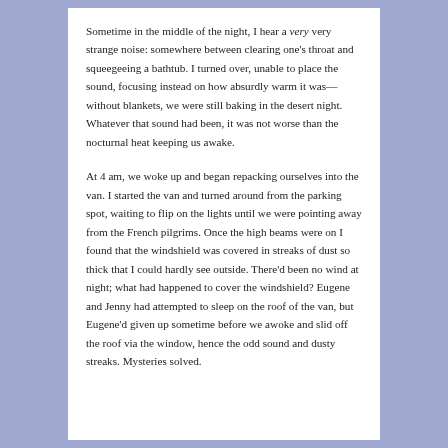Sometime in the middle of the night, I hear a very very strange noise: somewhere between clearing one's throat and squeegeeing a bathtub. I turned over, unable to place the sound, focusing instead on how absurdly warm it was—without blankets, we were still baking in the desert night. Whatever that sound had been, it was not worse than the nocturnal heat keeping us awake.
At 4 am, we woke up and began repacking ourselves into the van. I started the van and turned around from the parking spot, waiting to flip on the lights until we were pointing away from the French pilgrims. Once the high beams were on I found that the windshield was covered in streaks of dust so thick that I could hardly see outside. There'd been no wind at night; what had happened to cover the windshield? Eugene and Jenny had attempted to sleep on the roof of the van, but Eugene'd given up sometime before we awoke and slid off the roof via the window, hence the odd sound and dusty streaks. Mysteries solved.